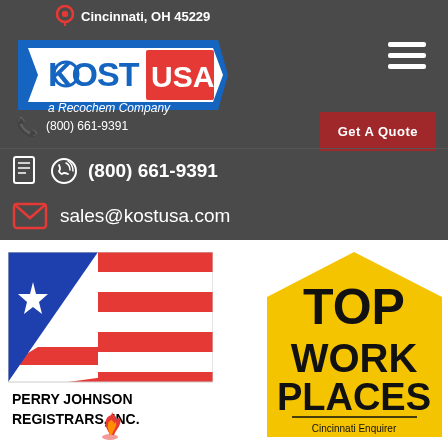[Figure (logo): KOST USA - a Recochem Company logo on dark grey header bar]
Cincinnati, OH 45229
(800) 661-9391
sales@kostusa.com
[Figure (logo): Perry Johnson Registrars, Inc. logo with flag graphic (blue triangle with white star, red and white stripes)]
[Figure (logo): Top Work Places - Cincinnati Enquirer badge in yellow pentagon shape]